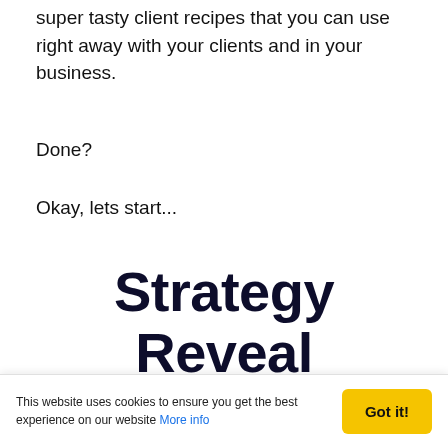super tasty client recipes that you can use right away with your clients and in your business.
Done?
Okay, lets start...
Strategy Reveal
Below, I'll show you how you too can receive all of the benefits that one simple
This website uses cookies to ensure you get the best experience on our website More info